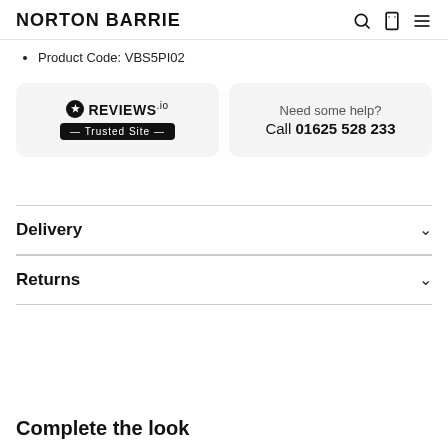NORTON BARRIE
Product Code: VBS5PI02
[Figure (logo): REVIEWS.io Trusted Site badge with star icon]
Need some help? Call 01625 528 233
Delivery
Returns
Complete the look